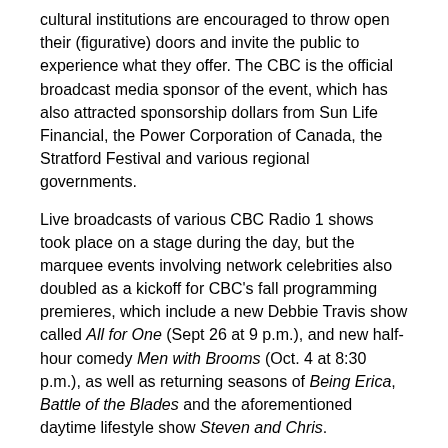cultural institutions are encouraged to throw open their (figurative) doors and invite the public to experience what they offer. The CBC is the official broadcast media sponsor of the event, which has also attracted sponsorship dollars from Sun Life Financial, the Power Corporation of Canada, the Stratford Festival and various regional governments.
Live broadcasts of various CBC Radio 1 shows took place on a stage during the day, but the marquee events involving network celebrities also doubled as a kickoff for CBC's fall programming premieres, which include a new Debbie Travis show called All for One (Sept 26 at 9 p.m.), and new half-hour comedy Men with Brooms (Oct. 4 at 8:30 p.m.), as well as returning seasons of Being Erica, Battle of the Blades and the aforementioned daytime lifestyle show Steven and Chris.
Kirstine Stewart, interim EVP, English services and GM of CBC Television, told MiC that the broadcaster hopes Culture Days will become as integral to the CBC – and as popular – as Hockey Day in Canada, an annual event that sees NHL teams playing in small communities across Canada, as well as a nationwide slate of broadcast programming.
'This is a grassroots opportunity to talk to people,' she said of the